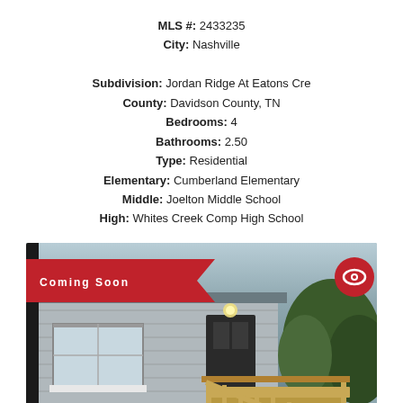MLS #: 2433235
City: Nashville
Subdivision: Jordan Ridge At Eatons Cre
County: Davidson County, TN
Bedrooms: 4
Bathrooms: 2.50
Type: Residential
Elementary: Cumberland Elementary
Middle: Joelton Middle School
High: Whites Creek Comp High School
[Figure (photo): Exterior photo of a single-story brick home with a wooden staircase/ramp leading to the front entrance. A 'Coming Soon' banner appears in the top left, a red eye icon in the top right, an accessibility icon in the bottom left, and a blue chat icon in the bottom right.]